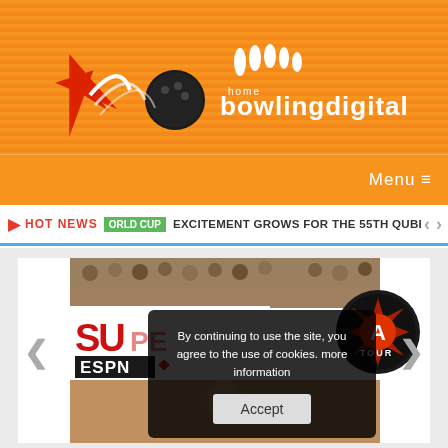bowlingdigital.com
Menu ≡
HOT NEWS  WORLD CUP  EXCITEMENT GROWS FOR THE 55TH QUBICAA
[Figure (screenshot): Bowling event screenshot with ESPN logo and tour logo overlay]
By continuing to use the site, you agree to the use of cookies. more information
Accept